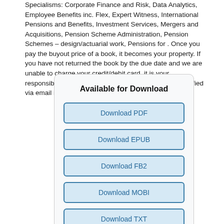Specialisms: Corporate Finance and Risk, Data Analytics, Employee Benefits inc. Flex, Expert Witness, International Pensions and Benefits, Investment Services, Mergers and Acquisitions, Pension Scheme Administration, Pension Schemes – design/actuarial work, Pensions for . Once you pay the buyout price of a book, it becomes your property. If you have not returned the book by the due date and we are unable to charge your credit/debit card, it is your responsibility to pay the fee immediately. You will be notified via email if your credit/debit card was declined.
Available for Download
Download PDF
Download EPUB
Download FB2
Download MOBI
Download TXT